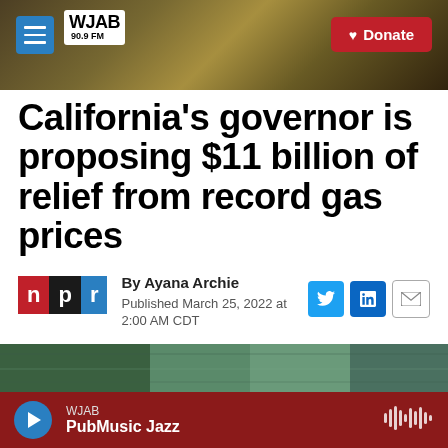WJAB 90.9 FM — Donate
California's governor is proposing $11 billion of relief from record gas prices
By Ayana Archie
Published March 25, 2022 at 2:00 AM CDT
[Figure (photo): Photo strip at bottom of article]
WJAB PubMusic Jazz